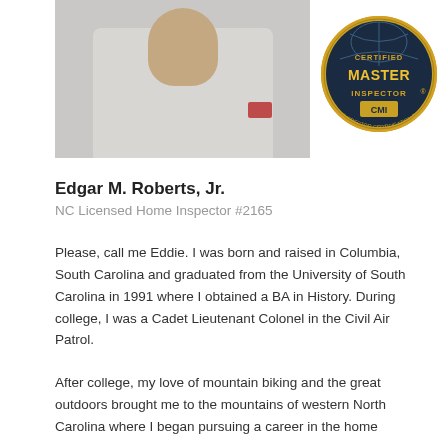[Figure (photo): Photo of Edgar M. Roberts Jr. in a light-colored shirt with a logo patch, alongside a Certified Master Inspector gold badge/seal]
Edgar M. Roberts, Jr.
NC Licensed Home Inspector #2165
Please, call me Eddie. I was born and raised in Columbia, South Carolina and graduated from the University of South Carolina in 1991 where I obtained a BA in History. During college, I was a Cadet Lieutenant Colonel in the Civil Air Patrol.
After college, my love of mountain biking and the great outdoors brought me to the mountains of western North Carolina where I began pursuing a career in the home inspection industry.